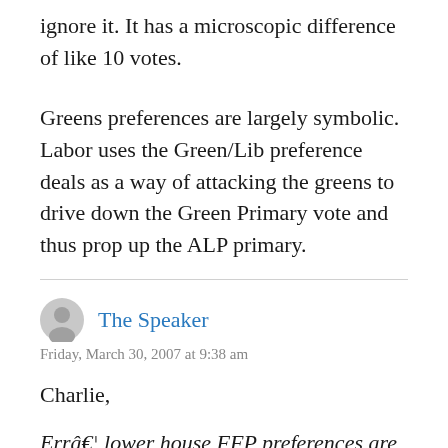ignore it. It has a microscopic difference of like 10 votes.
Greens preferences are largely symbolic. Labor uses the Green/Lib preference deals as a way of attacking the greens to drive down the Green Primary vote and thus prop up the ALP primary.
The Speaker
Friday, March 30, 2007 at 9:38 am
Charlie,
Errâ€¦ lower house FFP preferences are never going to go to the ALP, so the above statement is